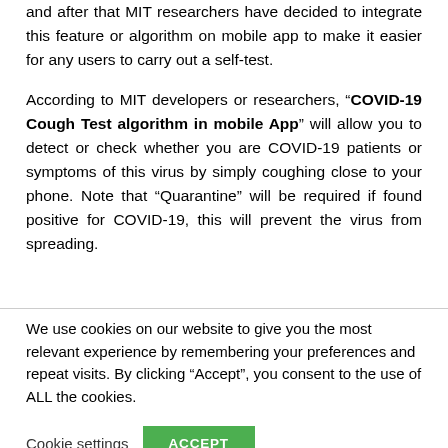and after that MIT researchers have decided to integrate this feature or algorithm on mobile app to make it easier for any users to carry out a self-test.
According to MIT developers or researchers, “COVID-19 Cough Test algorithm in mobile App” will allow you to detect or check whether you are COVID-19 patients or symptoms of this virus by simply coughing close to your phone. Note that “Quarantine” will be required if found positive for COVID-19, this will prevent the virus from spreading.
We use cookies on our website to give you the most relevant experience by remembering your preferences and repeat visits. By clicking “Accept”, you consent to the use of ALL the cookies.
Cookie settings   ACCEPT